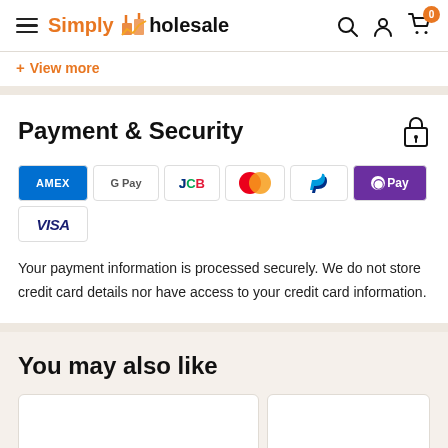Simply Wholesale
View more
Payment & Security
[Figure (logo): Payment method logos: American Express (AMEX), Google Pay, JCB, Mastercard, PayPal, Apple Pay (OPay), Visa]
Your payment information is processed securely. We do not store credit card details nor have access to your credit card information.
You may also like